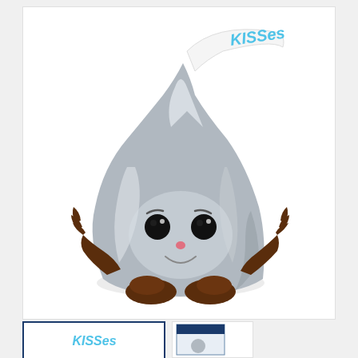[Figure (illustration): Funko Pop vinyl figure of Hershey's Kisses character — a silver foil-wrapped chocolate kiss shape with cute cartoon face (large black eyes, small pink nose, smile), brown chocolate hands and feet, and a white paper flag sticking out the top reading 'KISSes' in teal/blue letters. Main product photo on white background.]
[Figure (photo): Thumbnail image showing the front of a Hershey's Kisses Funko box with 'KISSes' text in teal on white background, dark navy border.]
[Figure (photo): Thumbnail image showing the Funko Pop box packaging for the Hershey's Kisses figure from a slightly angled view.]